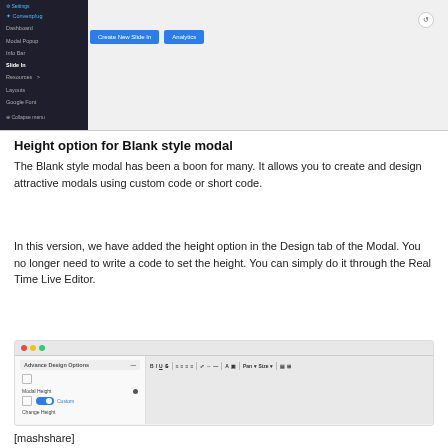[Figure (screenshot): WordPress admin sidebar navigation panel with menu items like Dashboard, Media Popup, Info Bar, Slide In, Resources, Layouts, Google Font, Collapse menu. Main content area shows two buttons: Create New Slide In and Analytics. A circular icon appears top right.]
Height option for Blank style modal
The Blank style modal has been a boon for many. It allows you to create and design attractive modals using custom code or short code.
In this version, we have added the height option in the Design tab of the Modal. You no longer need to write a code to set the height. You can simply do it through the Real Time Live Editor.
[Figure (screenshot): UI screenshot showing Advance Design Options panel on the left with Modal Height row and a Custom toggle (enabled), and Change Height option. Right side shows a toolbar with formatting buttons B I U and other icons.]
[mashshare]